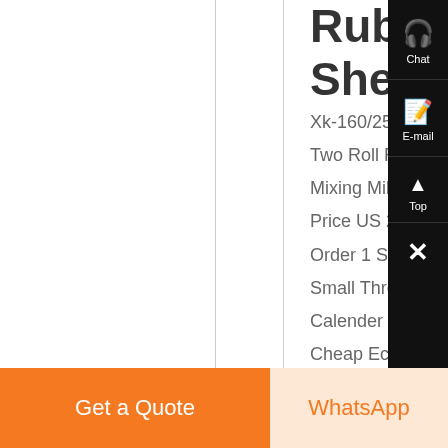Rubber Sheeting
Xk-160/250/300
Two Roll Rubbe...
Mixing Mill Mach...
Price US 2,000 /...
Order 1 Set , Hig...
Small Three Rol...
Calender Machi...
Cheap Economi...
FOB Price US 4...
/ Piece Min Orde...
Qingdao Guangy...
Machinery Manu...
Co, Ltd AndQing...
Get a Quote
WhatsApp